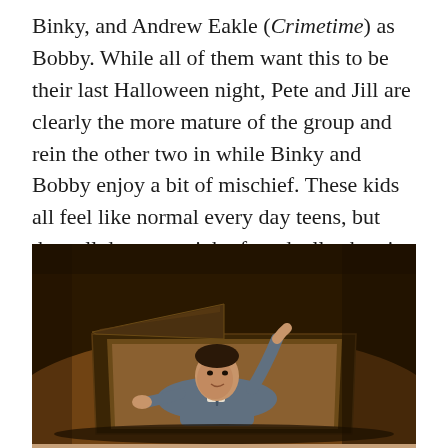Binky, and Andrew Eakle (Crimetime) as Bobby. While all of them want this to be their last Halloween night, Pete and Jill are clearly the more mature of the group and rein the other two in while Binky and Bobby enjoy a bit of mischief. These kids all feel like normal every day teens, but they all do a great job of gradually showing why there is more than meets the eye.
[Figure (photo): A person in a grey suit lying inside an open coffin on a wooden floor, lifting the coffin lid with one hand, photographed in a dark, warm-toned setting.]